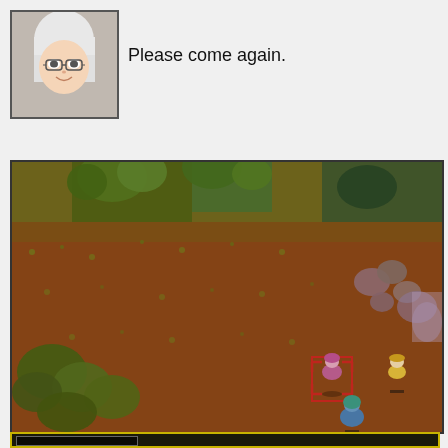[Figure (screenshot): Anime-style character portrait of a person with white/silver hair and glasses, smiling.]
Please come again.
[Figure (screenshot): RPG game screenshot showing a top-down view of an outdoor map with red-brown and green terrain (autumn leaves/grass). Several small pixel characters are visible in the lower right: one selected character with a pink/purple appearance inside a red bracket indicator, a blonde character to the right, and a blue character below. Trees and rocks visible at the edges.]
[Figure (screenshot): Bottom UI bar with dark background and gold border, containing a small rectangular element.]